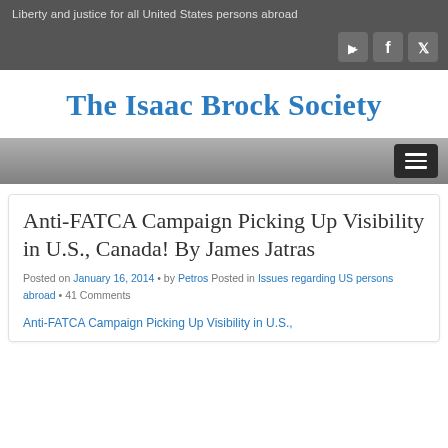Liberty and justice for all United States persons abroad
[Figure (other): Social media icons: YouTube, Facebook, Twitter]
The Isaac Brock Society
[Figure (other): Navigation bar with hamburger menu button]
Anti-FATCA Campaign Picking Up Visibility in U.S., Canada! By James Jatras
Posted on January 16, 2014 • by Petros Posted in Issues regarding US persons abroad • 41 Comments
Anti-FATCA Campaign Picking Up Visibility in U.S.,